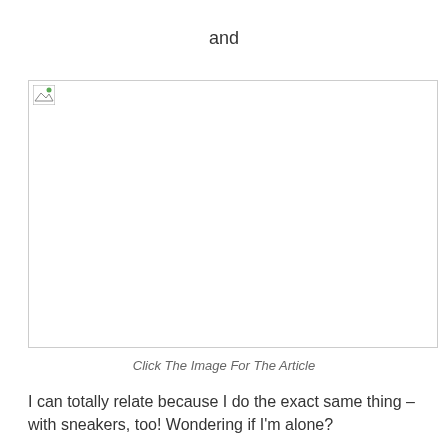and
[Figure (photo): Broken/placeholder image icon in top-left corner of a large empty image box with border]
Click The Image For The Article
I can totally relate because I do the exact same thing – with sneakers, too! Wondering if I'm alone?